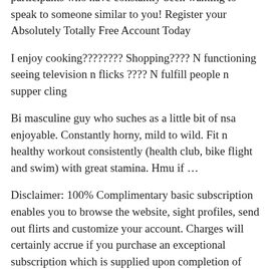participants who have constantly been wanting to speak to someone similar to you! Register your Absolutely Totally Free Account Today
I enjoy cooking???????? Shopping???? N functioning seeing television n flicks ???? N fulfill people n supper cling
Bi masculine guy who suches as a little bit of nsa enjoyable. Constantly horny, mild to wild. Fit n healthy workout consistently (health club, bike flight and swim) with great stamina. Hmu if …
Disclaimer: 100% Complimentary basic subscription enables you to browse the website, sight profiles, send out flirts and customize your account. Charges will certainly accrue if you purchase an exceptional subscription which is supplied upon completion of your profile. This site is billed by bear-magazine.com participants and/or models displayed on this site